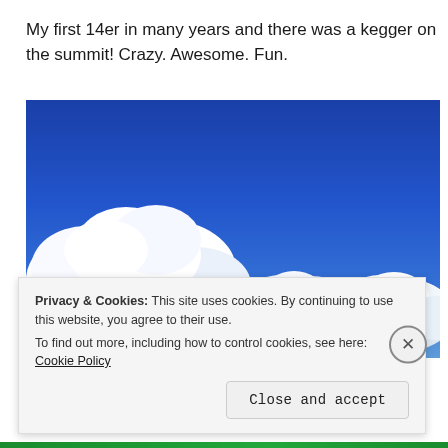My first 14er in many years and there was a kegger on the summit! Crazy. Awesome. Fun.
[Figure (photo): Blue sky with large white cumulus clouds photographed from below, bright sunny day.]
Privacy & Cookies: This site uses cookies. By continuing to use this website, you agree to their use.
To find out more, including how to control cookies, see here: Cookie Policy
Close and accept